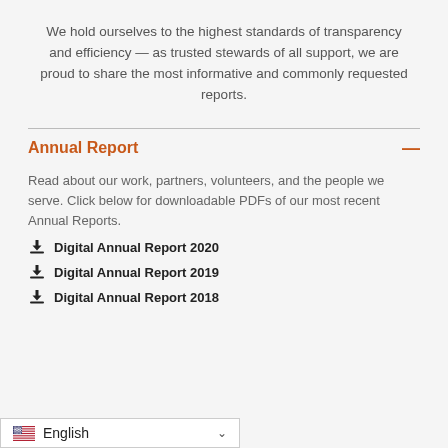We hold ourselves to the highest standards of transparency and efficiency — as trusted stewards of all support, we are proud to share the most informative and commonly requested reports.
Annual Report
Read about our work, partners, volunteers, and the people we serve. Click below for downloadable PDFs of our most recent Annual Reports.
Digital Annual Report 2020
Digital Annual Report 2019
Digital Annual Report 2018
English